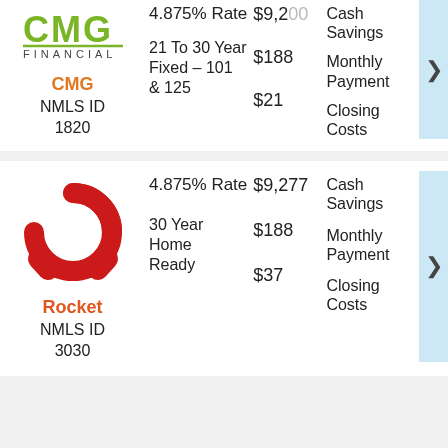[Figure (logo): CMG Financial logo — green CMG text with underline and FINANCIAL below]
4.875% Rate
21 To 30 Year Fixed – 101 & 125
$9,200 (partially visible)
$188
Cash Savings
Monthly Payment
$21
Closing Costs
CMG
NMLS ID 1820
[Figure (logo): Rocket logo — red horseshoe/omega shape]
4.875% Rate
30 Year Home Ready
$9,277
$188
Cash Savings
Monthly Payment
$37
Closing Costs
Rocket
NMLS ID 3030